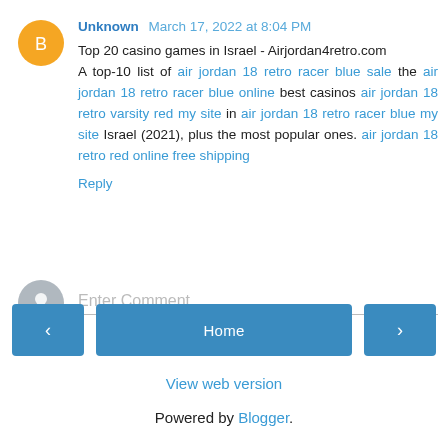Unknown March 17, 2022 at 8:04 PM
Top 20 casino games in Israel - Airjordan4retro.com
A top-10 list of air jordan 18 retro racer blue sale the air jordan 18 retro racer blue online best casinos air jordan 18 retro varsity red my site in air jordan 18 retro racer blue my site Israel (2021), plus the most popular ones. air jordan 18 retro red online free shipping
Reply
Enter Comment
Home
View web version
Powered by Blogger.